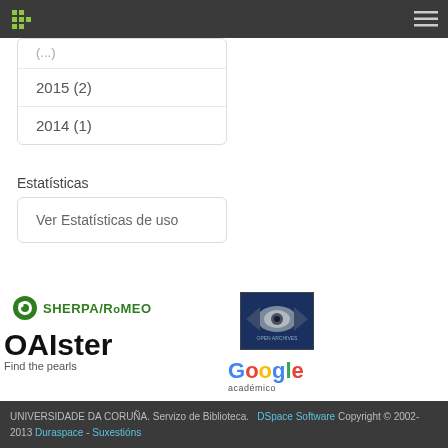Navigation bar with logo and hamburger menu
2015 (2)
2014 (1)
Estatísticas
Ver Estatísticas de uso
[Figure (logo): SHERPA/RoMEO logo]
[Figure (logo): OAIster - Find the pearls logo]
[Figure (logo): Open Archives Initiative logo]
[Figure (logo): Google Académico logo]
UNIVERSIDADE DA CORUÑA. Servizo de Biblioteca. DSpace Software Copyright © 2002-2013 Duraspace - Suxestións